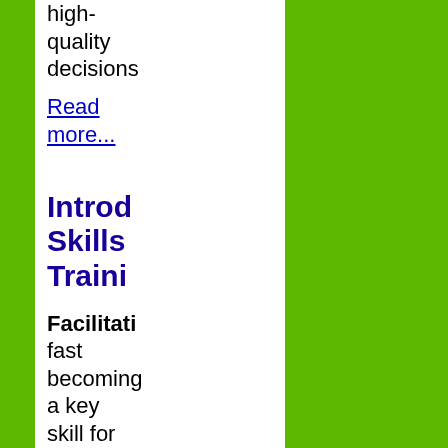high-quality decisions
Read more...
Introducing Skills Training
Facilitation is fast becoming a key skill for anyone who is in a